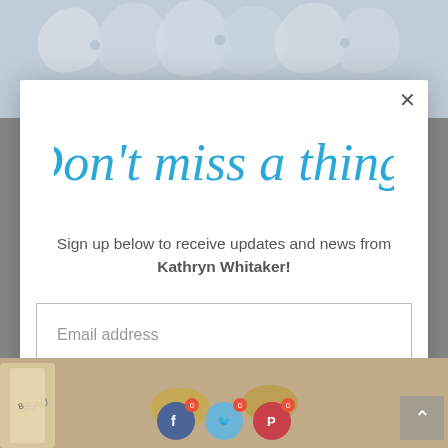[Figure (photo): Background photo of light blue/grey plastic or ceramic curved shapes at top of page]
[Figure (illustration): Close button X in top right of modal]
Don't miss a thing!
Sign up below to receive updates and news from Kathryn Whitaker!
Email address
Subscribe
[Figure (photo): Background photo at bottom with beauty products, social media icons (Facebook, Twitter, Pinterest) with notification badges, and a back-to-top arrow button]